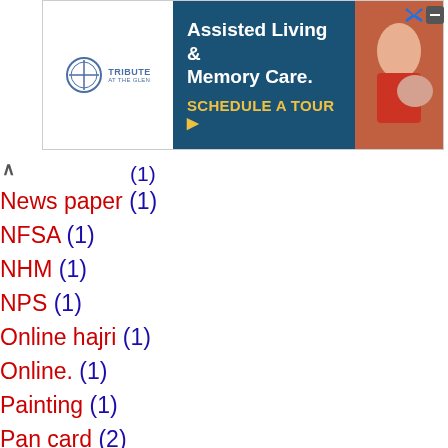[Figure (other): Advertisement banner for 'Tribute at the Glen' - Assisted Living & Memory Care with Schedule a Tour CTA]
(1)
News paper (1)
NFSA (1)
NHM (1)
NPS (1)
Online hajri (1)
Online. (1)
Painting (1)
Pan card (2)
Paripatra (2)
pgvcl (2)
PMJAY (1)
private job (2)
PUC (1)
Puzzel (2)
railway job (3)